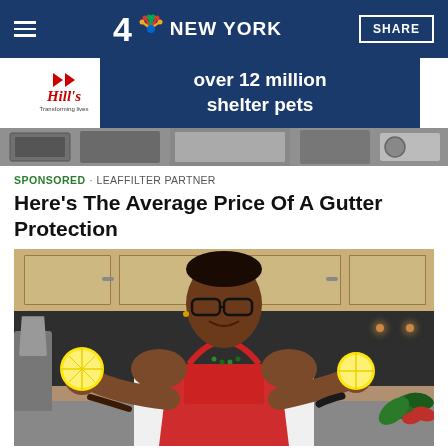4 NBC NEW YORK
[Figure (screenshot): Hill's pet food advertisement banner: 'over 12 million shelter pets']
[Figure (photo): Partial photo of kitchen countertops and appliances (top image strip)]
SPONSORED · LEAFFILTER PARTNER
Here's The Average Price Of A Gutter Protection
[Figure (photo): Man in red apron and glasses holding two lemon halves in a kitchen setting]